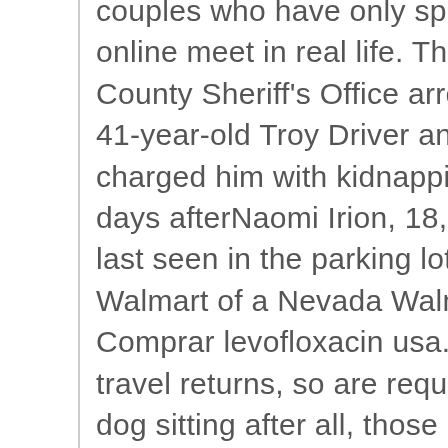couples who have only spoken online meet in real life. The Lyon County Sheriff's Office arrested 41-year-old Troy Driver and charged him with kidnapping 13 days afterNaomi Irion, 18, was last seen in the parking lot of a Walmart of a Nevada Walmart. Comprar levofloxacin usa. As travel returns, so are requests for dog sitting after all, those pandemic puppies arent taking care of themselves. The first geriatric cardiology clinic in New York opened at N.Y.U. Langone Medical Center in August. Its different. There was a big day of March Madness action on Thursday night as two No. 1 seeds were dumped out of